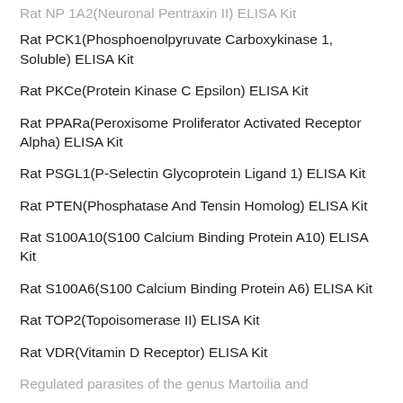Rat NP 1A2(Neuronal Pentraxin II) ELISA Kit
Rat PCK1(Phosphoenolpyruvate Carboxykinase 1, Soluble) ELISA Kit
Rat PKCe(Protein Kinase C Epsilon) ELISA Kit
Rat PPARa(Peroxisome Proliferator Activated Receptor Alpha) ELISA Kit
Rat PSGL1(P-Selectin Glycoprotein Ligand 1) ELISA Kit
Rat PTEN(Phosphatase And Tensin Homolog) ELISA Kit
Rat S100A10(S100 Calcium Binding Protein A10) ELISA Kit
Rat S100A6(S100 Calcium Binding Protein A6) ELISA Kit
Rat TOP2(Topoisomerase II) ELISA Kit
Rat VDR(Vitamin D Receptor) ELISA Kit
Regulated parasites of the genus Martoilia and